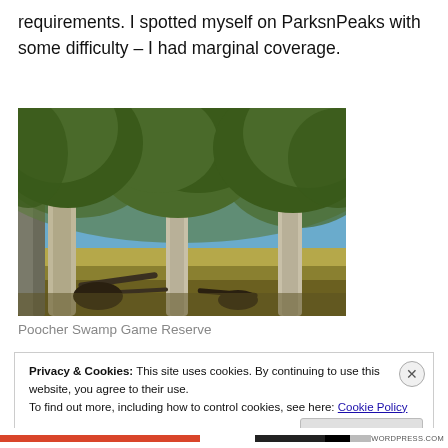requirements. I spotted myself on ParksnPeaks with some difficulty – I had marginal coverage.
[Figure (photo): Outdoor nature photo showing large eucalyptus trees with white bark in a dry open woodland setting, blue sky visible through the canopy, dried grass on ground, taken at Poocher Swamp Game Reserve]
Poocher Swamp Game Reserve
Privacy & Cookies: This site uses cookies. By continuing to use this website, you agree to their use.
To find out more, including how to control cookies, see here: Cookie Policy
Close and accept